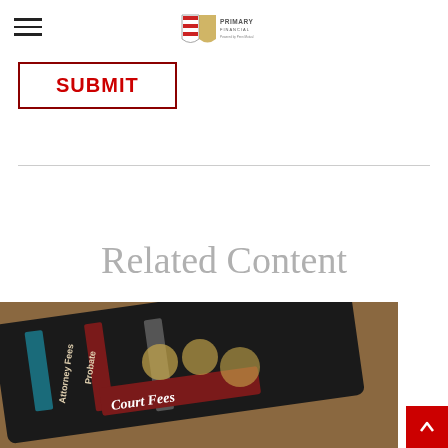Primary Financial — Powered by Penn Mutual
SUBMIT
Related Content
[Figure (photo): Photograph of file folders labeled Attorney Fees, Probate, Court Fees on a tablet device, placed on a carpet background]